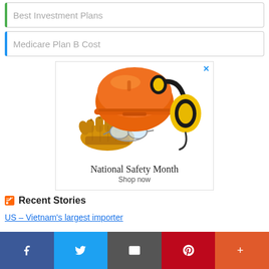Best Investment Plans
Medicare Plan B Cost
[Figure (illustration): Advertisement banner showing safety equipment (orange hard hat, yellow ear muffs, safety glasses, work gloves) with text 'National Safety Month / Shop now']
Recent Stories
US – Vietnam's largest importer
Facebook | Twitter | Email | Pinterest | More